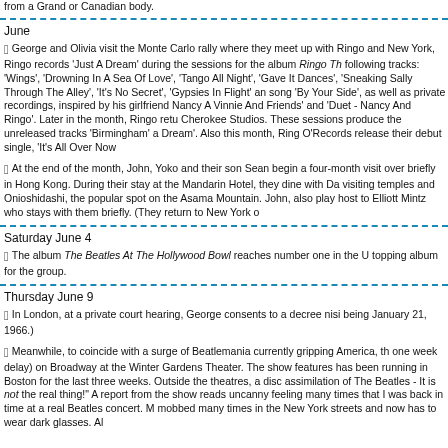from a Grand or Canadian body.
June
George and Olivia visit the Monte Carlo rally where they meet up with Ringo and New York, Ringo records 'Just A Dream' during the sessions for the album Ringo Th following tracks: 'Wings', 'Drowning In A Sea Of Love', 'Tango All Night', 'Gave It Dances', 'Sneaking Sally Through The Alley', 'It's No Secret', 'Gypsies In Flight' an song 'By Your Side', as well as private recordings, inspired by his girlfriend Nancy A Vinnie And Friends' and 'Duet - Nancy And Ringo'. Later in the month, Ringo retu Cherokee Studios. These sessions produce the unreleased tracks 'Birmingham' a Dream'. Also this month, Ring O'Records release their debut single, 'It's All Over Now
At the end of the month, John, Yoko and their son Sean begin a four-month visit over briefly in Hong Kong. During their stay at the Mandarin Hotel, they dine with Da visiting temples and Onioshidashi, the popular spot on the Asama Mountain. John, also play host to Elliott Mintz who stays with them briefly. (They return to New York o
Saturday June 4
The album The Beatles At The Hollywood Bowl reaches number one in the U topping album for the group.
Thursday June 9
In London, at a private court hearing, George consents to a decree nisi being January 21, 1966.)
Meanwhile, to coincide with a surge of Beatlemania currently gripping America, th one week delay) on Broadway at the Winter Gardens Theater. The show features has been running in Boston for the last three weeks. Outside the theatres, a disc assimilation of The Beatles - It is not the real thing!" A report from the show reads uncanny feeling many times that I was back in time at a real Beatles concert. M mobbed many times in the New York streets and now has to wear dark glasses. Al